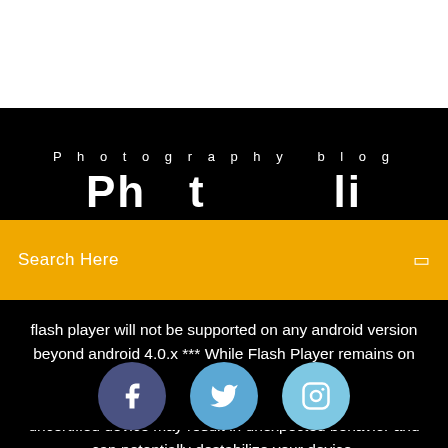Photography blog
Search Here
flash player will not be supported on any android version beyond android 4.0.x *** While Flash Player remains on Google Play for installation on Android devices that are certified by the manufacturer, installing Flash Player on an uncertified device may result in unexpected behavior and can potentially destabilize your device.
[Figure (other): Social media icons: Facebook, Twitter, Instagram as circular buttons]